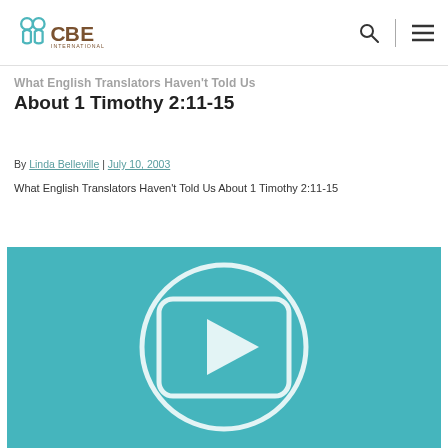CBE International — navigation bar with logo, search, and menu icons
What English Translators Haven't Told Us About 1 Timothy 2:11-15
By Linda Belleville | July 10, 2003
What English Translators Haven't Told Us About 1 Timothy 2:11-15
WATCH NOW
[Figure (screenshot): Teal/blue-green video thumbnail showing a rounded-rectangle play button icon (circle with play arrow) on a solid teal background]